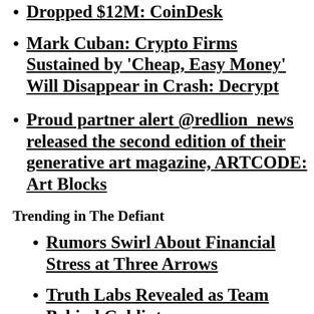Dropped $12M: CoinDesk
Mark Cuban: Crypto Firms Sustained by 'Cheap, Easy Money' Will Disappear in Crash: Decrypt
Proud partner alert @redlion_news released the second edition of their generative art magazine, ARTCODE: Art Blocks
Trending in The Defiant
Rumors Swirl About Financial Stress at Three Arrows
Truth Labs Revealed as Team Behind Goblintown
Coinbase Leads Wave of Layoffs as